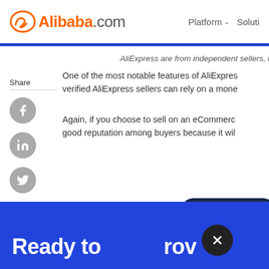[Figure (logo): Alibaba.com logo with orange stylized icon and text]
Platform  Soluti…
AliExpress are from independent sellers, me…
Share
One of the most notable features of AliExpres… verified AliExpress sellers can rely on a mone…
Again, if you choose to sell on an eCommerc… good reputation among buyers because it wil…
Start Selling
Customer Service
Ready to  rov…